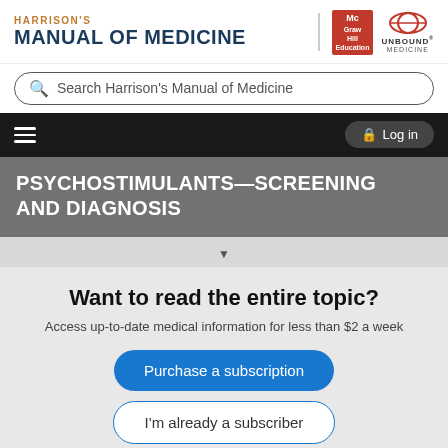[Figure (logo): Harrison's Manual of Medicine logo with McGraw Hill Education and Unbound Medicine logos]
Search Harrison's Manual of Medicine
Log in
PSYCHOSTIMULANTS—SCREENING AND DIAGNOSIS
Want to read the entire topic?
Access up-to-date medical information for less than $2 a week
Purchase a subscription
I'm already a subscriber
Browse sample topics